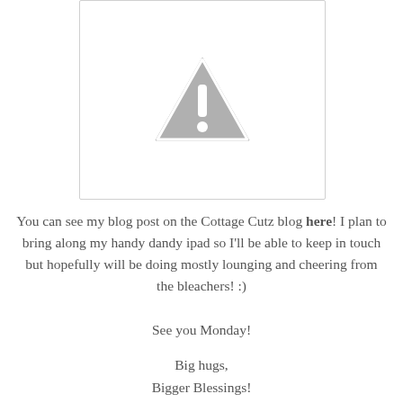[Figure (illustration): Broken image placeholder: grey triangle warning icon with exclamation mark on white background with light grey border]
You can see my blog post on the Cottage Cutz blog here! I plan to bring along my handy dandy ipad so I'll be able to keep in touch but hopefully will be doing mostly lounging and cheering from the bleachers! :)
See you Monday!
Big hugs, Bigger Blessings! ~Kelly~